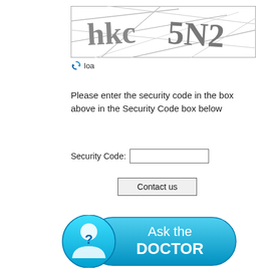[Figure (screenshot): CAPTCHA image showing distorted text 'hkc5N2' with crossing lines on a white background inside a border box]
loa
Please enter the security code in the box above in the Security Code box below
Security Code:
[Figure (illustration): Ask the Doctor button with a circular icon showing a person head with question mark in blue/cyan gradient style, and text 'Ask the DOCTOR' on a rounded pill-shaped blue button]